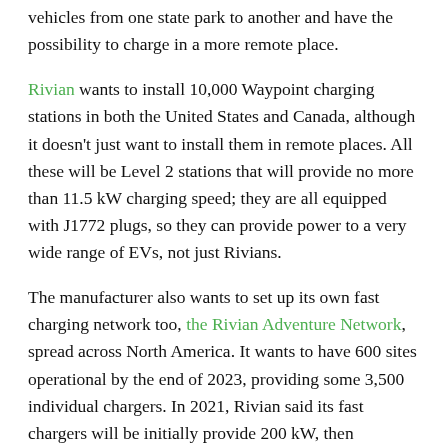Another goal is to allow tourists to drive their electric vehicles from one state park to another and have the possibility to charge in a more remote place.
Rivian wants to install 10,000 Waypoint charging stations in both the United States and Canada, although it doesn't just want to install them in remote places. All these will be Level 2 stations that will provide no more than 11.5 kW charging speed; they are all equipped with J1772 plugs, so they can provide power to a very wide range of EVs, not just Rivians.
The manufacturer also wants to set up its own fast charging network too, the Rivian Adventure Network, spread across North America. It wants to have 600 sites operational by the end of 2023, providing some 3,500 individual chargers. In 2021, Rivian said its fast chargers will be initially provide 200 kW, then eventually they will be upgraded to over 300 kW.